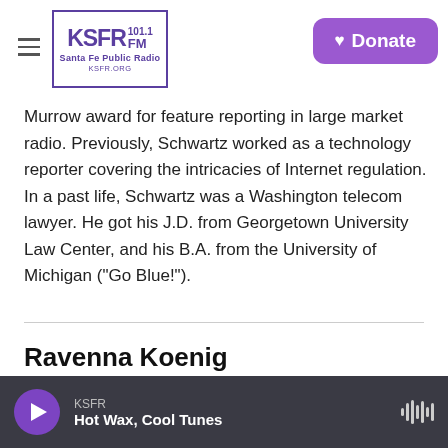KSFR 101.1 FM Santa Fe Public Radio | Donate
Murrow award for feature reporting in large market radio. Previously, Schwartz worked as a technology reporter covering the intricacies of Internet regulation. In a past life, Schwartz was a Washington telecom lawyer. He got his J.D. from Georgetown University Law Center, and his B.A. from the University of Michigan ("Go Blue!").
Ravenna Koenig
KSFR | Hot Wax, Cool Tunes